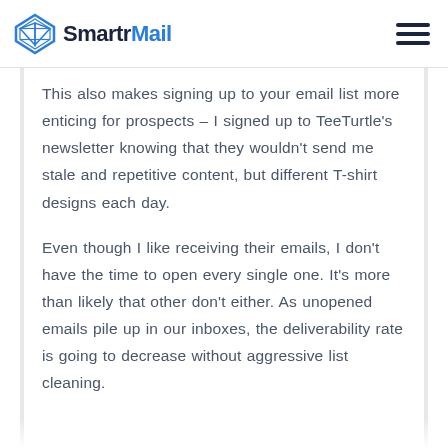SmartrMail
This also makes signing up to your email list more enticing for prospects – I signed up to TeeTurtle's newsletter knowing that they wouldn't send me stale and repetitive content, but different T-shirt designs each day.
Even though I like receiving their emails, I don't have the time to open every single one. It's more than likely that other don't either. As unopened emails pile up in our inboxes, the deliverability rate is going to decrease without aggressive list cleaning.